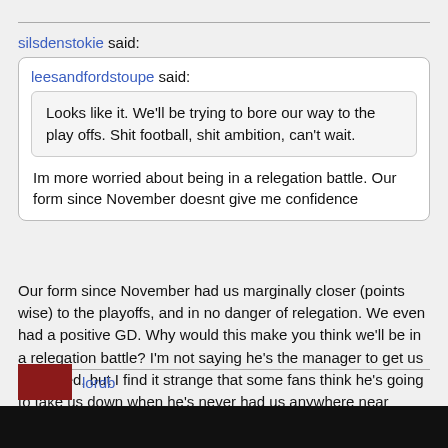silsdenstokie said:
leesandfordstoupe said:
Looks like it. We'll be trying to bore our way to the play offs. Shit football, shit ambition, can't wait.
Im more worried about being in a relegation battle. Our form since November doesnt give me confidence
Our form since November had us marginally closer (points wise) to the playoffs, and in no danger of relegation. We even had a positive GD. Why would this make you think we'll be in a relegation battle? I'm not saying he's the manager to get us promoted, but I find it strange that some fans think he's going to take us down when he's never had us anywhere near relegation.
www.transfermarkt.com/championship/formtabelle/wettbewerb/GB2?saison_id=2021&min=16&max=46
lordb